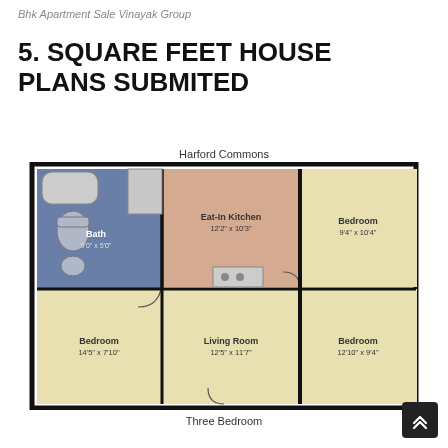Bhk Apartment Sale Vinayak Group
5. SQUARE FEET HOUSE PLANS SUBMITED
Harford Commons
[Figure (engineering-diagram): Floor plan of a three-bedroom apartment labeled Harford Commons. Shows Bath (9'0" x 5'0"), Eat-In Kitchen (12'2" x 10'3"), Bedroom (9'4" x 10'4"), Bedroom (14'5" x 7'10"), Living Room (12'5" x 11'7"), Bedroom (12'10" x 9'4").]
Three Bedroom